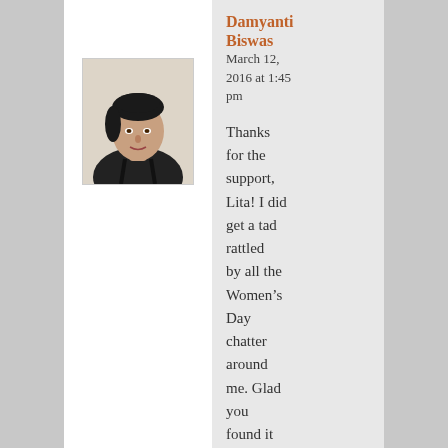[Figure (photo): Profile photo of Damyanti Biswas — a woman with dark hair wearing a black top, displayed in a bordered box]
Damyanti Biswas
March 12, 2016 at 1:45 pm
Thanks for the support, Lita! I did get a tad rattled by all the Women’s Day chatter around me. Glad you found it engaging. I love